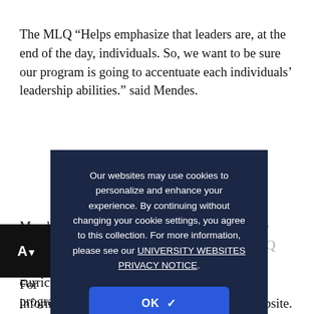The MLQ “Helps emphasize that leaders are, at the end of the day, individuals. So, we want to be sure our program is going to accentuate each individuals’ leadership abilities.” said Mendes.
Members have unique abilities, and thus require programming tailored to those needs. JLLA uses the MLQ throughout the semester to build a leadership curriculum and confirm the effectiveness of the program.
[Figure (screenshot): Cookie consent popup overlay with dark navy background. Text reads: 'Our websites may use cookies to personalize and enhance your experience. By continuing without changing your cookie settings, you agree to this collection. For more information, please see our UNIVERSITY WEBSITES PRIVACY NOTICE.' Blue OK button with checkmark at bottom.]
For more information about JLLA, you can visit their website.